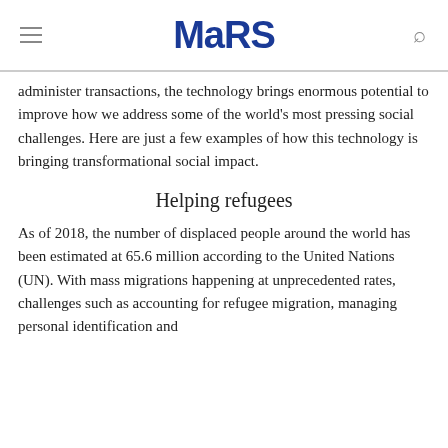MaRS
administer transactions, the technology brings enormous potential to improve how we address some of the world's most pressing social challenges. Here are just a few examples of how this technology is bringing transformational social impact.
Helping refugees
As of 2018, the number of displaced people around the world has been estimated at 65.6 million according to the United Nations (UN). With mass migrations happening at unprecedented rates, challenges such as accounting for refugee migration, managing personal identification and